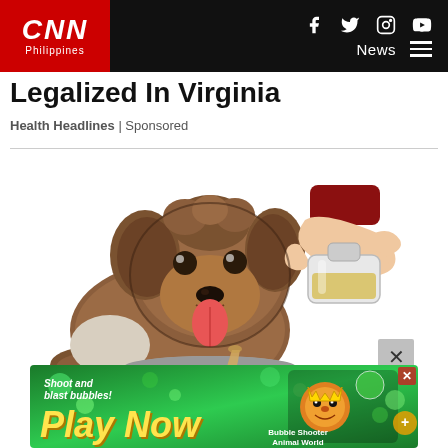CNN Philippines
Legalized In Virginia
Health Headlines | Sponsored
[Figure (illustration): Illustrated image of a fluffy brown and white dog with tongue out, looking at a hand pouring liquid from a bottle into a metal bowl. Cartoon/illustration style.]
[Figure (illustration): Advertisement banner with green bubble-shooter game. Text: 'Shoot and blast bubbles! Play Now' with game mascot character and 'Bubble Shooter Animal World' label.]